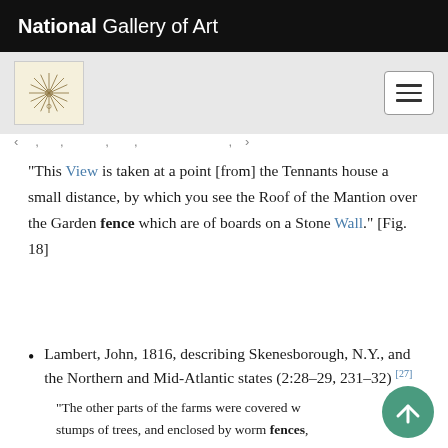National Gallery of Art
[Figure (logo): National Gallery of Art starburst/compass logo on cream background]
“This View is taken at a point [from] the Tennants house a small distance, by which you see the Roof of the Mantion over the Garden fence which are of boards on a Stone Wall.” [Fig. 18]
Lambert, John, 1816, describing Skenesborough, N.Y., and the Northern and Mid-Atlantic states (2:28–29, 231–32) [27]
“The other parts of the farms were covered w stumps of trees, and enclosed by worm fences,